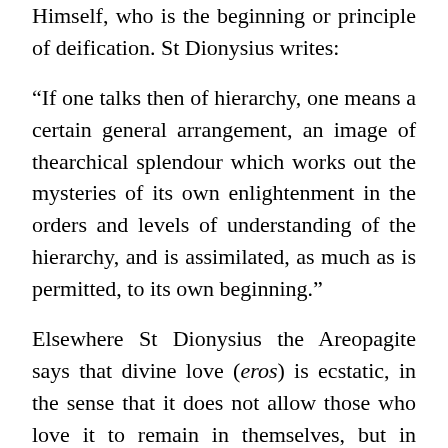Himself, who is the beginning or principle of deification. St Dionysius writes:
“If one talks then of hierarchy, one means a certain general arrangement, an image of thearchical splendour which works out the mysteries of its own enlightenment in the orders and levels of understanding of the hierarchy, and is assimilated, as much as is permitted, to its own beginning.”
Elsewhere St Dionysius the Areopagite says that divine love (eros) is ecstatic, in the sense that it does not allow those who love it to remain in themselves, but in those whom they love. This is clear from the fact that those who are higher